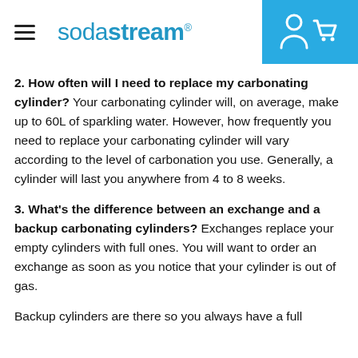sodastream
2. How often will I need to replace my carbonating cylinder? Your carbonating cylinder will, on average, make up to 60L of sparkling water. However, how frequently you need to replace your carbonating cylinder will vary according to the level of carbonation you use. Generally, a cylinder will last you anywhere from 4 to 8 weeks.
3. What's the difference between an exchange and a backup carbonating cylinders? Exchanges replace your empty cylinders with full ones. You will want to order an exchange as soon as you notice that your cylinder is out of gas.
Backup cylinders are there so you always have a full